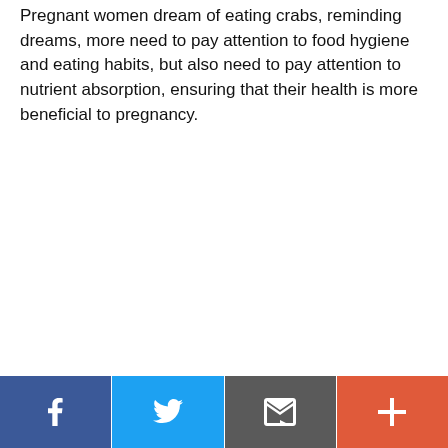Pregnant women dream of eating crabs, reminding dreams, more need to pay attention to food hygiene and eating habits, but also need to pay attention to nutrient absorption, ensuring that their health is more beneficial to pregnancy.
Social share buttons: Facebook, Twitter, Email, More